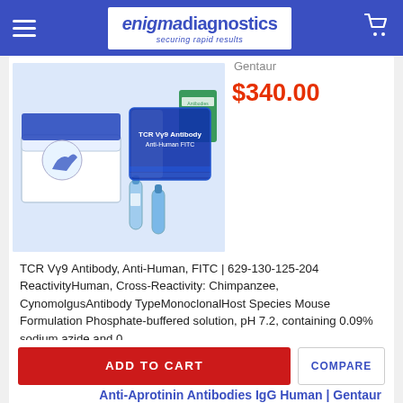enigmadiagnostics — securing rapid results
[Figure (photo): Product photo showing antibody kit boxes and vials: white open box with blue horse logo, green antibody box, blue TCR Vy9 Antibody Anti-Human FITC box, and small blue vials on white background]
Gentaur
$340.00
TCR Vy9 Antibody, Anti-Human, FITC | 629-130-125-204 ReactivityHuman, Cross-Reactivity: Chimpanzee, CynomolgusAntibody TypeMonoclonalHost Species Mouse Formulation Phosphate-buffered solution, pH 7.2, containing 0.09% sodium azide and 0...
ADD TO CART
COMPARE
Anti-Aprotinin Antibodies IgG Human | Gentaur